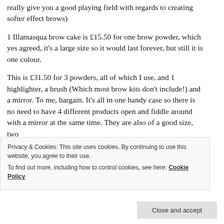really give you a good playing field with regards to creating softer effect brows)
1 Illamasqua brow cake is £15.50 for one brow powder, which yes agreed, it's a large size so it would last forever, but still it is one colour.
This is £31.50 for 3 powders, all of which I use, and 1 highlighter, a brush (Which most brow kits don't include!) and a mirror. To me, bargain. It's all in one handy case so there is no need to have 4 different products open and fiddle around with a mirror at the same time. They are also of a good size, two
Privacy & Cookies: This site uses cookies. By continuing to use this website, you agree to their use.
To find out more, including how to control cookies, see here: Cookie Policy
Close and accept